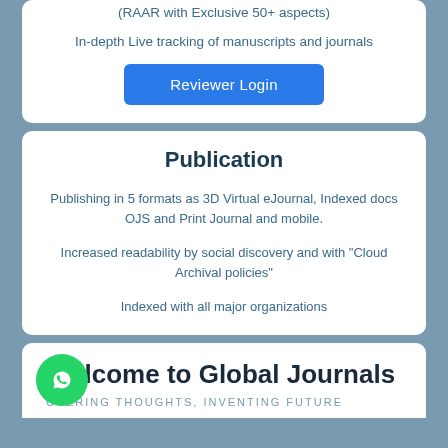(RAAR with Exclusive 50+ aspects)
In-depth Live tracking of manuscripts and journals
Reviewer Login
Publication
Publishing in 5 formats as 3D Virtual eJournal, Indexed docs OJS and Print Journal and mobile.
Increased readability by social discovery and with "Cloud Archival policies"
Indexed with all major organizations
Welcome to Global Journals
OVERING THOUGHTS, INVENTING FUTURE